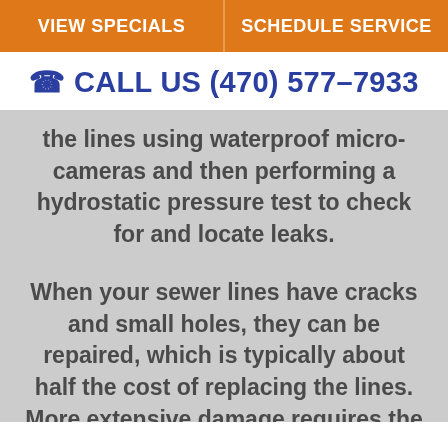VIEW SPECIALS | SCHEDULE SERVICE
CALL US (470) 577-7933
the lines using waterproof micro-cameras and then performing a hydrostatic pressure test to check for and locate leaks.
When your sewer lines have cracks and small holes, they can be repaired, which is typically about half the cost of replacing the lines. More extensive damage requires the replacement of your sewer lines. Our professional